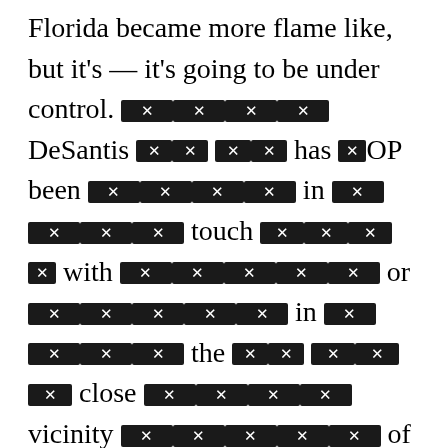Florida became more flame like, but it's — it's going to be under control. [REDACTED] DeSantis [REDACTED] has GOP been [REDACTED] in [REDACTED] touch [REDACTED] with [REDACTED] or [REDACTED] in [REDACTED] the [REDACTED] close [REDACTED] vicinity [REDACTED] of [REDACTED] Trump [REDACTED] on [REDACTED] at [REDACTED] least [REDACTED] two [REDACTED] occasions [REDACTED] since [REDACTED] the [REDACTED] interview. [REDACTED] First, [REDACTED] he [REDACTED] spoke [REDACTED] to [REDACTED] Trump [REDACTED] and [REDACTED] Vice [REDACTED] President [REDACTED] Mike [REDACTED] Pence [REDACTED] last [REDACTED] Wednesday. [REDACTED] A [REDACTED] day [REDACTED] later, [REDACTED] his [REDACTED] press [REDACTED] office [REDACTED] revealed [REDACTED] that [REDACTED] DeSantis [REDACTED] had [REDACTED] discussed [REDACTED] with [REDACTED] Pence, [REDACTED] who [REDACTED] visited [REDACTED] Miami 1[REDACTED] on [REDACTED] Monday. [REDACTED]